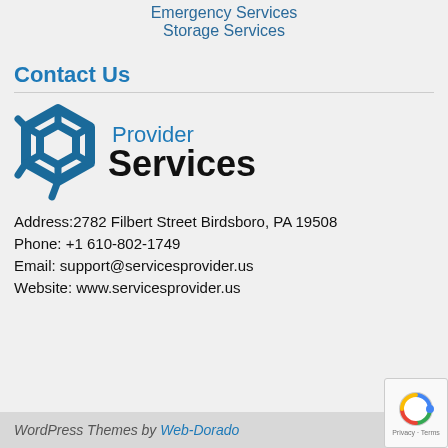Emergency Services
Storage Services
Contact Us
[Figure (logo): Services Provider logo with hexagon icon in teal/dark blue and text 'Provider Services']
Address:2782 Filbert Street Birdsboro, PA 19508
Phone: +1 610-802-1749
Email: support@servicesprovider.us
Website: www.servicesprovider.us
WordPress Themes by Web-Dorado